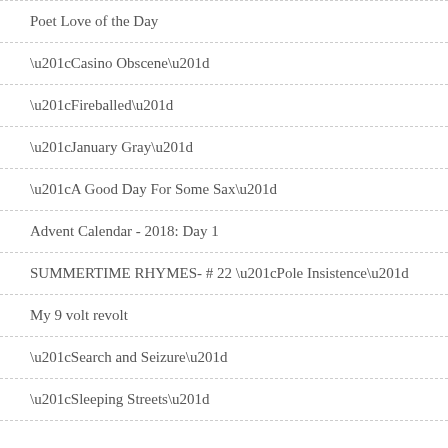Poet Love of the Day
“Casino Obscene”
“Fireballed”
“January Gray”
“A Good Day For Some Sax”
Advent Calendar - 2018: Day 1
SUMMERTIME RHYMES- # 22 “Pole Insistence”
My 9 volt revolt
“Search and Seizure”
“Sleeping Streets”